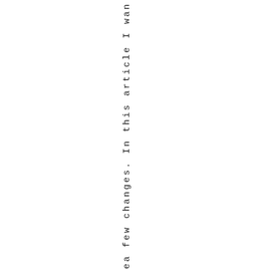ea few changes. In this article I wan